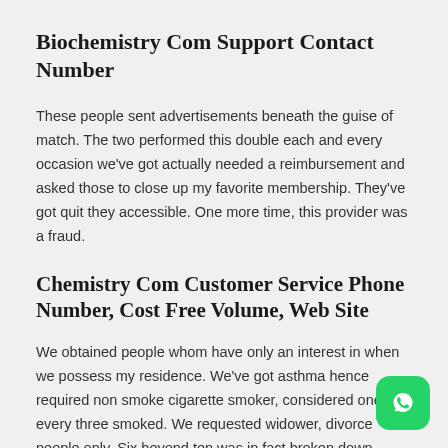Biochemistry Com Support Contact Number
These people sent advertisements beneath the guise of match. The two performed this double each and every occasion we've got actually needed a reimbursement and asked those to close up my favorite membership. They've got quit they accessible. One more time, this provider was a fraud.
Chemistry Com Customer Service Phone Number, Cost Free Volume, Web Site
We obtained people whom have only an interest in when we possess my residence. We've got asthma hence required non smoke cigarette smoker, considered one of every three smoked. We requested widower, divorce people only. Six beyond ten was in fact broken down dudes
[Figure (logo): WhatsApp logo button in green rounded square in bottom right corner]